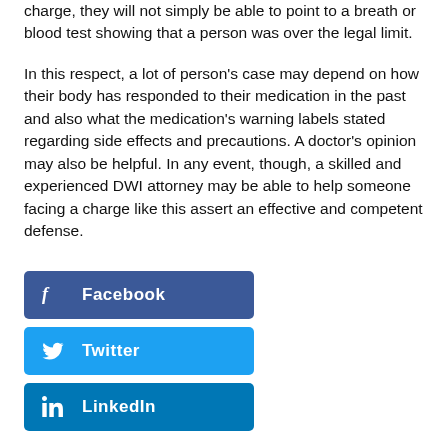charge, they will not simply be able to point to a breath or blood test showing that a person was over the legal limit.
In this respect, a lot of person's case may depend on how their body has responded to their medication in the past and also what the medication's warning labels stated regarding side effects and precautions. A doctor's opinion may also be helpful. In any event, though, a skilled and experienced DWI attorney may be able to help someone facing a charge like this assert an effective and competent defense.
Facebook
Twitter
LinkedIn